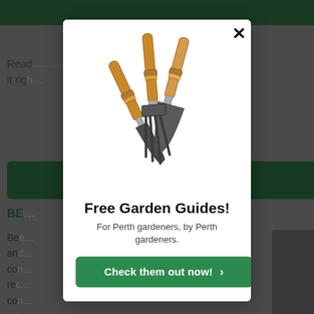[Figure (screenshot): A modal popup overlay on a gardening website. The modal shows garden hand tools (two trowels and a cultivator rake with wooden handles), a bold headline 'Free Garden Guides!', a subheadline 'For Perth gardeners, by Perth gardeners.', and a green CTA button 'Check them out now! >'. The background shows a partially visible webpage with a green header bar, partial text reading 'Read... to do it right' and 'BE...' section header, body text, and a close X button in the top-right of the modal.]